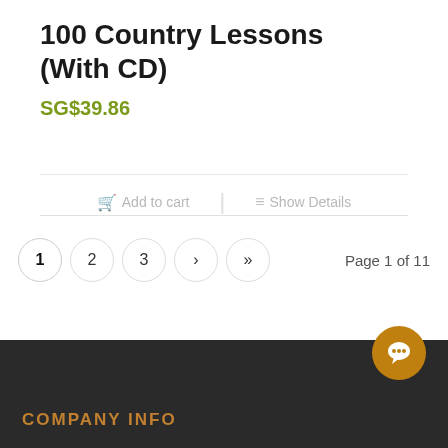100 Country Lessons (With CD)
SG$39.86
Add to cart
Show Details
1  2  3  ›  »   Page 1 of 11
COMPANY INFO